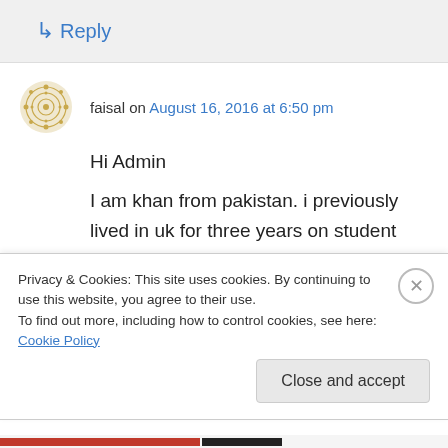↳ Reply
faisal on August 16, 2016 at 6:50 pm
Hi Admin

I am khan from pakistan. i previously lived in uk for three years on student visa. i completed my degree and went back to pakistan in 2011. now with an incident happen to me in pakistan i have to fled my country. now i m in turkey and i want
Privacy & Cookies: This site uses cookies. By continuing to use this website, you agree to their use.
To find out more, including how to control cookies, see here: Cookie Policy
Close and accept